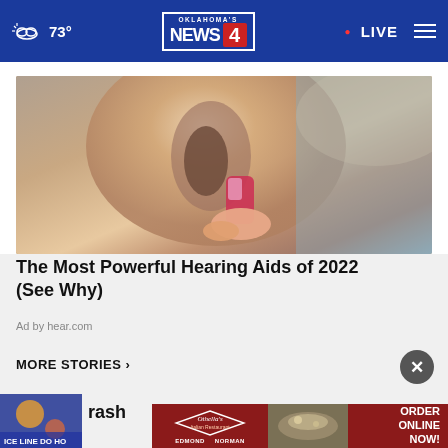Oklahoma's News 4 — 73° — LIVE
[Figure (photo): Close-up photo of a person inserting a small hearing aid into their ear, with painted fingernails visible holding the device.]
The Most Powerful Hearing Aids of 2022 (See Why)
Ad by hear.com
MORE STORIES ›
[Figure (photo): Small thumbnail image of a colorful news story, partially visible at bottom left.]
[Figure (screenshot): Othella's Italian Restaurant advertisement banner with logo, food image, and ORDER ONLINE NOW! call to action. Locations: EDMOND, NORMAN.]